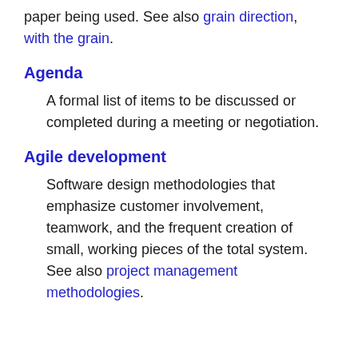paper being used. See also grain direction, with the grain.
Agenda
A formal list of items to be discussed or completed during a meeting or negotiation.
Agile development
Software design methodologies that emphasize customer involvement, teamwork, and the frequent creation of small, working pieces of the total system. See also project management methodologies.